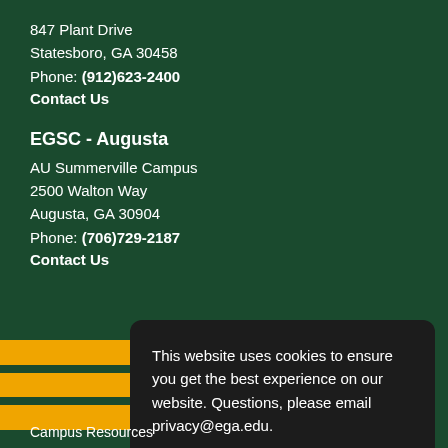847 Plant Drive
Statesboro, GA 30458
Phone: (912)623-2400
Contact Us
EGSC - Augusta
AU Summerville Campus
2500 Walton Way
Augusta, GA 30904
Phone: (706)729-2187
Contact Us
This website uses cookies to ensure you get the best experience on our website. Questions, please email privacy@ega.edu.
Privacy Statement
Got it!
Campus Resources